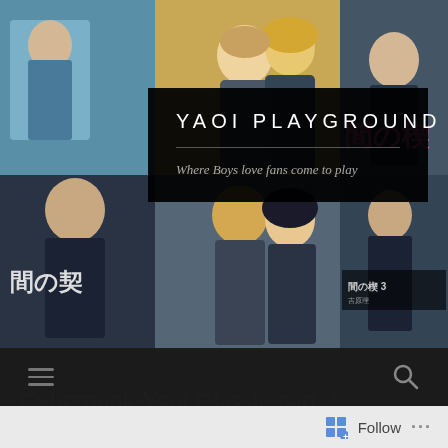[Figure (illustration): Manga/yaoi book cover collage background showing multiple anime-style book covers with characters in various romantic poses, featuring Japanese text 間の契 visible on covers. Colors include blues, golds, and dark tones.]
YAOI PLAYGROUND
Where Boys love fans come to play
[Figure (other): Navigation bar with hamburger menu icon on left and search (magnifying glass) icon on right, on dark background]
Cyberpunk Yaoi Classic part 2
Follow ...